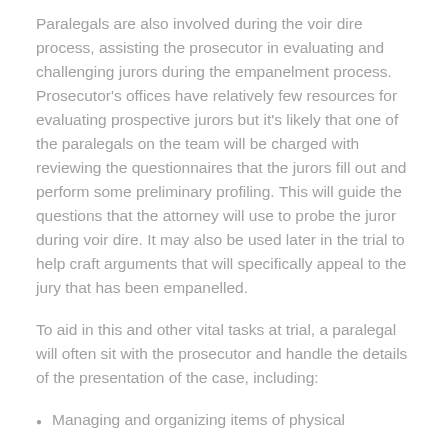Paralegals are also involved during the voir dire process, assisting the prosecutor in evaluating and challenging jurors during the empanelment process. Prosecutor's offices have relatively few resources for evaluating prospective jurors but it's likely that one of the paralegals on the team will be charged with reviewing the questionnaires that the jurors fill out and perform some preliminary profiling. This will guide the questions that the attorney will use to probe the juror during voir dire. It may also be used later in the trial to help craft arguments that will specifically appeal to the jury that has been empanelled.
To aid in this and other vital tasks at trial, a paralegal will often sit with the prosecutor and handle the details of the presentation of the case, including:
Managing and organizing items of physical